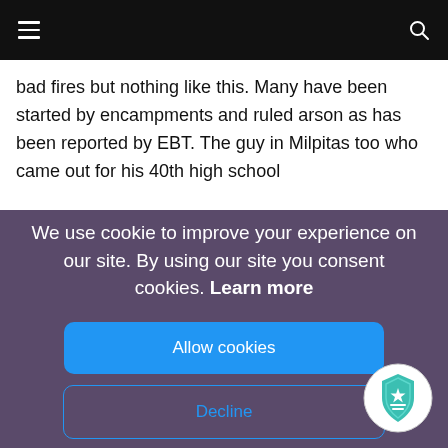Navigation bar with hamburger menu and search icon
bad fires but nothing like this. Many have been started by encampments and ruled arson as has been reported by EBT. The guy in Milpitas too who came out for his 40th high school
We use cookie to improve your experience on our site. By using our site you consent cookies. Learn more
Allow cookies
Decline
[Figure (illustration): Teal police/security badge icon with star and horizontal lines]